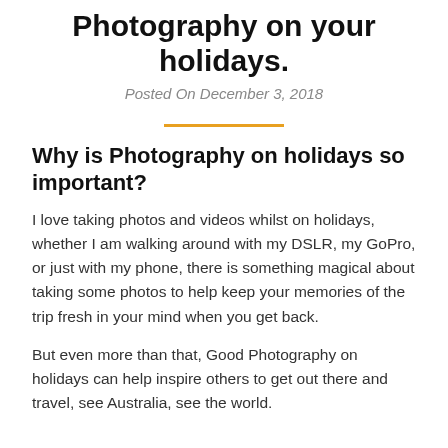Photography on your holidays.
Posted On December 3, 2018
Why is Photography on holidays so important?
I love taking photos and videos whilst on holidays, whether I am walking around with my DSLR, my GoPro, or just with my phone, there is something magical about taking some photos to help keep your memories of the trip fresh in your mind when you get back.
But even more than that, Good Photography on holidays can help inspire others to get out there and travel, see Australia, see the world.